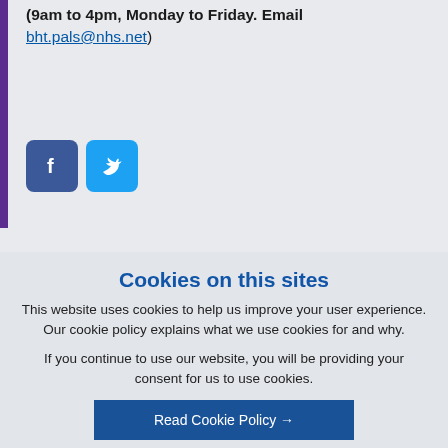(9am to 4pm, Monday to Friday. Email bht.pals@nhs.net)
[Figure (logo): Facebook and Twitter social media icons]
Cookies on this sites
This website uses cookies to help us improve your user experience. Our cookie policy explains what we use cookies for and why.
If you continue to use our website, you will be providing your consent for us to use cookies.
Read Cookie Policy →
I accept cookies from this site ✓